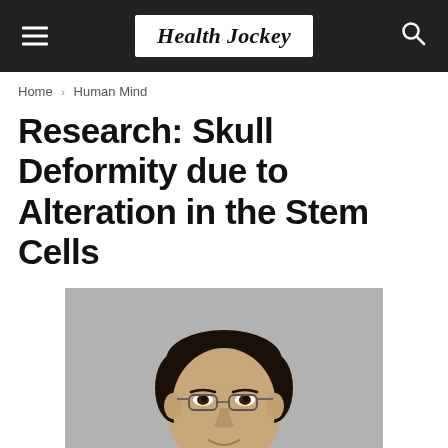Health Jockey
Home › Human Mind
Research: Skull Deformity due to Alteration in the Stem Cells
[Figure (photo): Portrait photo of an Asian man with glasses and dark hair, smiling slightly, against a gray background]